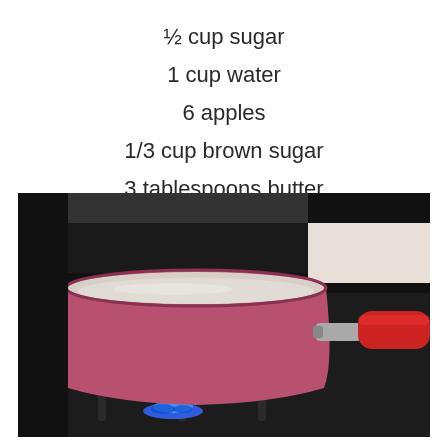½ cup sugar
1 cup water
6 apples
1/3 cup brown sugar
3 tablespoons butter
1 teaspoon cinnamon
[Figure (photo): A pink saucepan with a red handle sitting on a black gas stove with a blue flame visible underneath, containing a clear liquid (water and sugar mixture).]